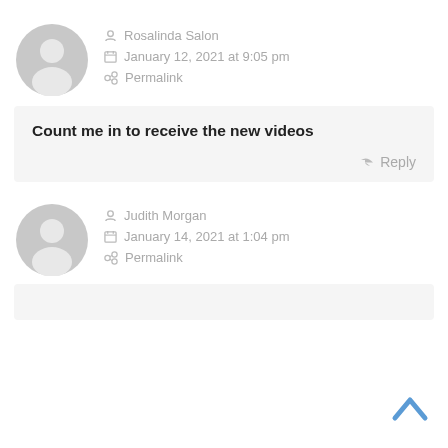[Figure (illustration): Gray default user avatar icon (circle with person silhouette) for Rosalinda Salon]
Rosalinda Salon
January 12, 2021 at 9:05 pm
Permalink
Count me in to receive the new videos
Reply
[Figure (illustration): Gray default user avatar icon (circle with person silhouette) for Judith Morgan]
Judith Morgan
January 14, 2021 at 1:04 pm
Permalink